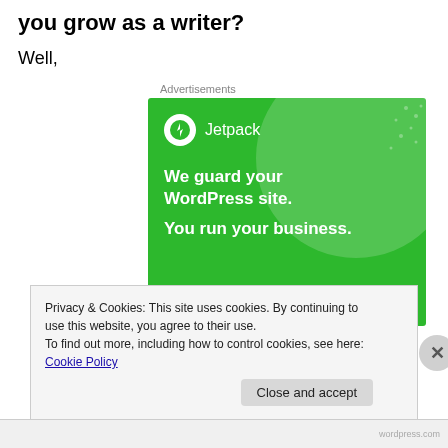you grow as a writer?
Well,
Advertisements
[Figure (illustration): Jetpack advertisement banner on green background with text: 'We guard your WordPress site. You run your business.' and a 'Secure Your Site' button]
Privacy & Cookies: This site uses cookies. By continuing to use this website, you agree to their use.
To find out more, including how to control cookies, see here: Cookie Policy
Close and accept